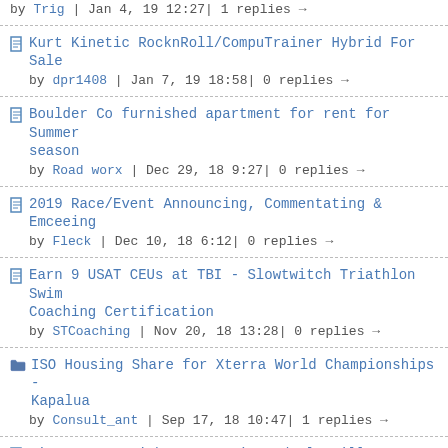by Trig | Jan 4, 19 12:27| 1 replies →
Kurt Kinetic RocknRoll/CompuTrainer Hybrid For Sale
by dpr1408 | Jan 7, 19 18:58| 0 replies →
Boulder Co furnished apartment for rent for Summer season
by Road worx | Dec 29, 18 9:27| 0 replies →
2019 Race/Event Announcing, Commentating & Emceeing
by Fleck | Dec 10, 18 6:12| 0 replies →
Earn 9 USAT CEUs at TBI - Slowtwitch Triathlon Swim Coaching Certification
by STCoaching | Nov 20, 18 13:28| 0 replies →
ISO Housing Share for Xterra World Championships - Kapalua
by Consult_ant | Sep 17, 18 10:47| 1 replies →
Circ Letter with Vasa Trainer deal still happening?
by jtklein | Sep 13, 18 10:37| 0 replies →